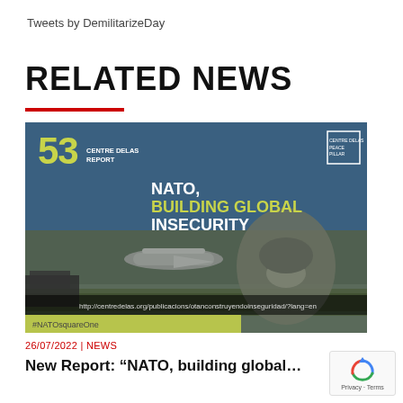Tweets by DemilitarizeDay
RELATED NEWS
[Figure (other): Report cover image for Centre Delas Report #53 titled 'NATO, Building Global Insecurity' with a soldier in gas mask and aircraft in background, with URL http://centredelas.org/publicacions/otanconstruyendoinseguridad/?lang=en and hashtag #NATOsquareOne]
26/07/2022 | NEWS
New Report: “NATO, building global…